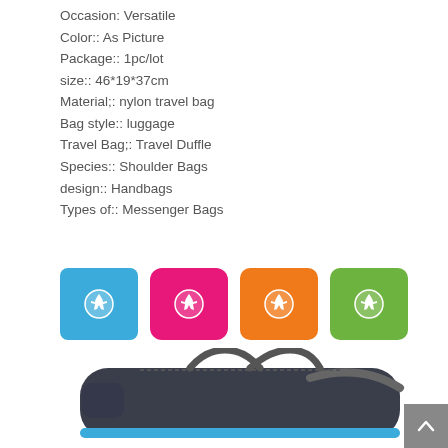Occasion: Versatile
Color:: As Picture
Package:: 1pc/lot
size:: 46*19*37cm
Material;: nylon travel bag
Bag style:: luggage
Travel Bag;: Travel Duffle
Species:: Shoulder Bags
design:: Handbags
Types of:: Messenger Bags
[Figure (photo): Four color swatches (blue, pink/magenta, orange, green) of folded travel bags with airplane icons]
[Figure (photo): Dark navy/charcoal travel duffle bag with handles and shoulder strap, unfolded]